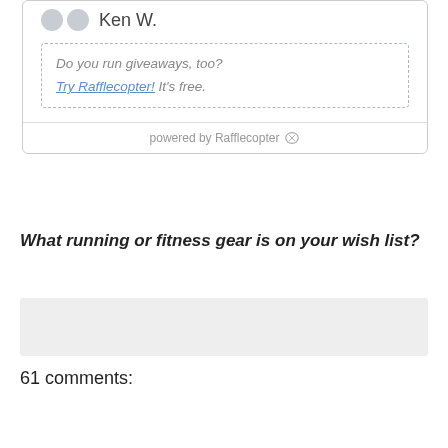[Figure (screenshot): Rafflecopter giveaway widget showing two avatar circles, name 'Ken W.', a dashed promo box with 'Do you run giveaways, too? Try Rafflecopter! It's free.', and footer 'powered by Rafflecopter' with icon.]
What running or fitness gear is on your wish list?
[Figure (other): Grey comment input box placeholder]
61 comments: